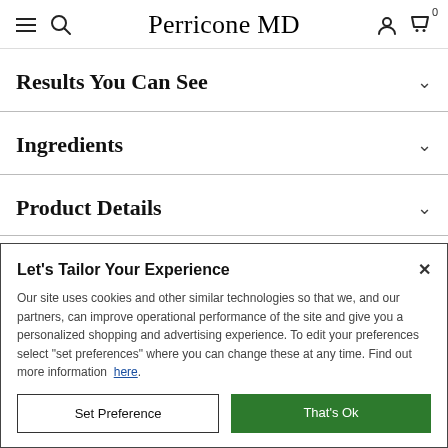Perricone MD — header with menu, search, account, cart icons
Results You Can See
Ingredients
Product Details
Let's Tailor Your Experience

Our site uses cookies and other similar technologies so that we, and our partners, can improve operational performance of the site and give you a personalized shopping and advertising experience. To edit your preferences select "set preferences" where you can change these at any time. Find out more information here.